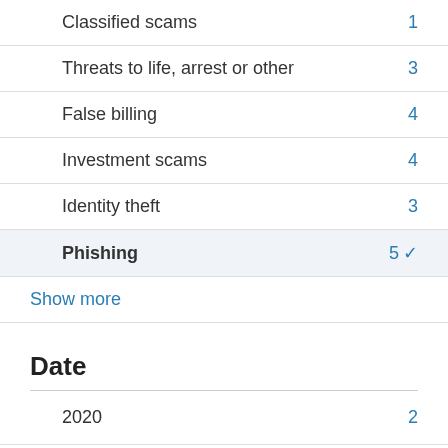Classified scams   1
Threats to life, arrest or other   3
False billing   4
Investment scams   4
Identity theft   3
Phishing   5 ✓
Show more
Date
2020   2
2019   1